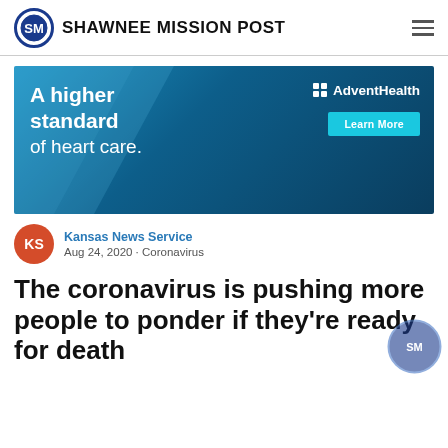SHAWNEE MISSION POST
[Figure (infographic): AdventHealth advertisement banner reading 'A higher standard of heart care.' with a Learn More button]
Kansas News Service
Aug 24, 2020 - Coronavirus
The coronavirus is pushing more people to ponder if they're ready for death